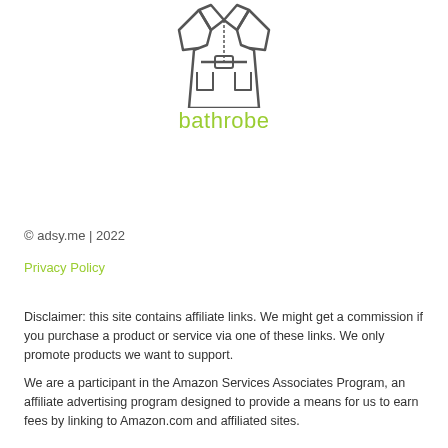[Figure (illustration): Line drawing icon of a bathrobe/robe with belt, front pockets, and collar, rendered in dark gray outline style]
bathrobe
© adsy.me | 2022
Privacy Policy
Disclaimer: this site contains affiliate links. We might get a commission if you purchase a product or service via one of these links. We only promote products we want to support.
We are a participant in the Amazon Services Associates Program, an affiliate advertising program designed to provide a means for us to earn fees by linking to Amazon.com and affiliated sites.